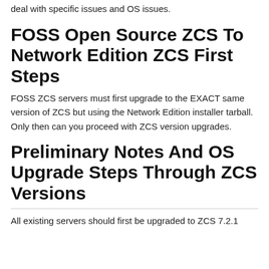deal with specific issues and OS issues.
FOSS Open Source ZCS To Network Edition ZCS First Steps
FOSS ZCS servers must first upgrade to the EXACT same version of ZCS but using the Network Edition installer tarball. Only then can you proceed with ZCS version upgrades.
Preliminary Notes And OS Upgrade Steps Through ZCS Versions
All existing servers should first be upgraded to ZCS 7.2.1